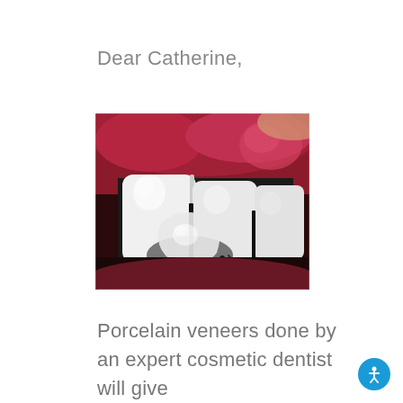Dear Catherine,
[Figure (photo): Close-up photo of a person's open mouth showing upper front teeth with a porcelain veneer being held up against a central incisor using tweezers/dental instrument. The gums are visible in red/pink, and the veneer is a translucent white tooth-shaped shell being positioned.]
Porcelain veneers done by an expert cosmetic dentist will give